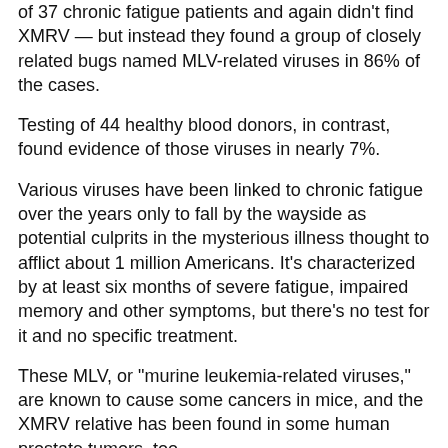of 37 chronic fatigue patients and again didn't find XMRV — but instead they found a group of closely related bugs named MLV-related viruses in 86% of the cases.
Testing of 44 healthy blood donors, in contrast, found evidence of those viruses in nearly 7%.
Various viruses have been linked to chronic fatigue over the years only to fall by the wayside as potential culprits in the mysterious illness thought to afflict about 1 million Americans. It's characterized by at least six months of severe fatigue, impaired memory and other symptoms, but there's no test for it and no specific treatment.
These MLV, or "murine leukemia-related viruses," are known to cause some cancers in mice, and the XMRV relative has been found in some human prostate tumors, too.
But there's no easy way to test for it, meaning studies of a link at this point must be in research labs, not doctors' offices, FDA and NIH researchers said Monday.
No one knows how people become infected, but Alter said a major study is underway to see if there's any evidence of